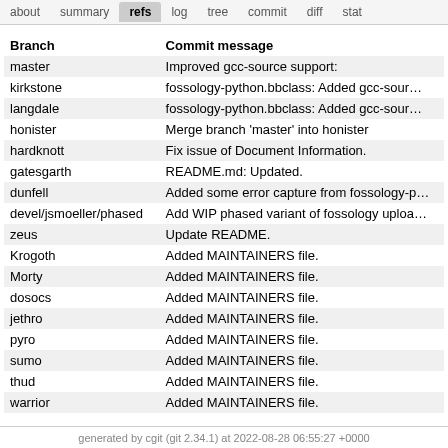about  summary  refs  log  tree  commit  diff  stat
| Branch | Commit message |
| --- | --- |
| master | Improved gcc-source support: |
| kirkstone | fossology-python.bbclass: Added gcc-sour… |
| langdale | fossology-python.bbclass: Added gcc-sour… |
| honister | Merge branch 'master' into honister |
| hardknott | Fix issue of Document Information. |
| gatesgarth | README.md: Updated. |
| dunfell | Added some error capture from fossology-p… |
| devel/jsmoeller/phased | Add WIP phased variant of fossology uploa… |
| zeus | Update README. |
| Krogoth | Added MAINTAINERS file. |
| Morty | Added MAINTAINERS file. |
| dosocs | Added MAINTAINERS file. |
| jethro | Added MAINTAINERS file. |
| pyro | Added MAINTAINERS file. |
| sumo | Added MAINTAINERS file. |
| thud | Added MAINTAINERS file. |
| warrior | Added MAINTAINERS file. |
generated by cgit (git 2.34.1) at 2022-08-28 06:55:27 +0000